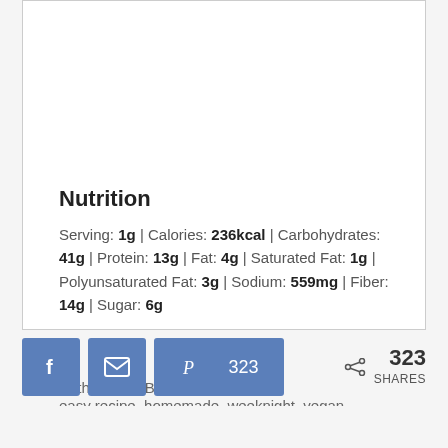Nutrition
Serving: 1g | Calories: 236kcal | Carbohydrates: 41g | Protein: 13g | Fat: 4g | Saturated Fat: 1g | Polyunsaturated Fat: 3g | Sodium: 559mg | Fiber: 14g | Sugar: 6g
Author: Holli Butterfield
easy recipe, homemade, weeknight, vegan, vegan chili, chili, beans, meal
[Figure (other): Social share buttons: Facebook (blue), Email (blue), Pinterest with count 323 (blue), and share count showing 323 SHARES]